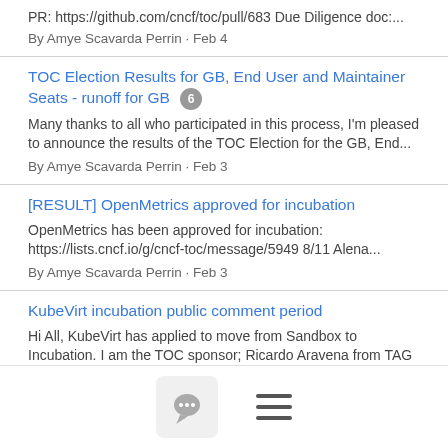PR: https://github.com/cncf/toc/pull/683 Due Diligence doc:...
By Amye Scavarda Perrin · Feb 4
TOC Election Results for GB, End User and Maintainer Seats - runoff for GB [6]
Many thanks to all who participated in this process, I'm pleased to announce the results of the TOC Election for the GB, End...
By Amye Scavarda Perrin · Feb 3
[RESULT] OpenMetrics approved for incubation
OpenMetrics has been approved for incubation: https://lists.cncf.io/g/cncf-toc/message/5949 8/11 Alena...
By Amye Scavarda Perrin · Feb 3
KubeVirt incubation public comment period
Hi All, KubeVirt has applied to move from Sandbox to Incubation. I am the TOC sponsor; Ricardo Aravena from TAG Runtime...
By Alena Prokharchyk · Feb 2
TOC Agenda for 2/1